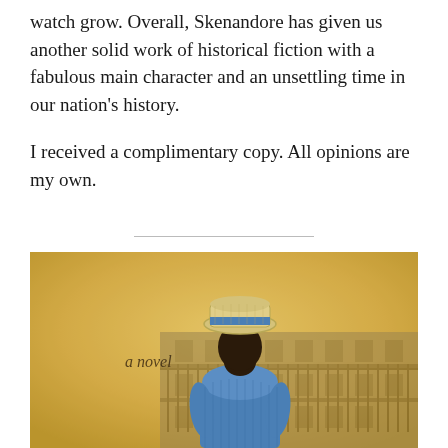watch grow. Overall, Skenandore has given us another solid work of historical fiction with a fabulous main character and an unsettling time in our nation's history.
I received a complimentary copy. All opinions are my own.
[Figure (illustration): Book cover showing a person from behind wearing a straw boater hat with a blue ribbon and a blue dress/shirt, standing in front of a historic multi-story building with balconies. A warm sepia/golden background. Text on cover reads 'a novel' in italic script.]